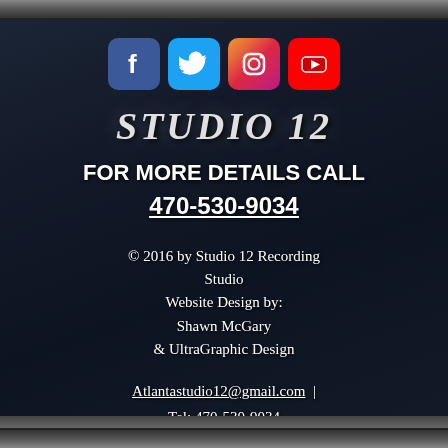[Figure (illustration): Social media icons: Facebook (blue), Twitter (light blue), Instagram (gradient pink/red), YouTube (red)]
STUDIO 12
FOR MORE DETAILS CALL
470-530-9034
© 2016 by Studio 12 Recording Studio
Website Design by:
Shawn McGary
& UltraGraphic Design
Atlantastudio12@gmail.com  |  Tel: 470-530-9034